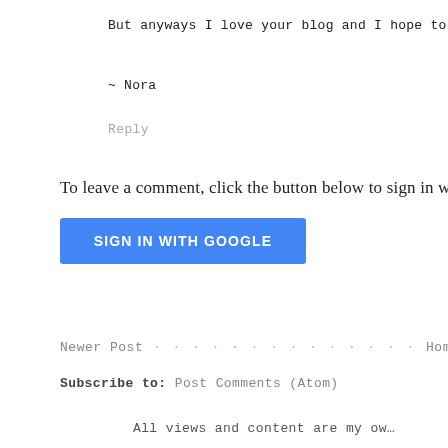But anyways I love your blog and I hope to see man…
~ Nora
Reply
To leave a comment, click the button below to sign in wi…
[Figure (other): Blue 'SIGN IN WITH GOOGLE' button]
Newer Post · · · · · · · · · · · · · · Home · · ·
Subscribe to: Post Comments (Atom)
All views and content are my ow…